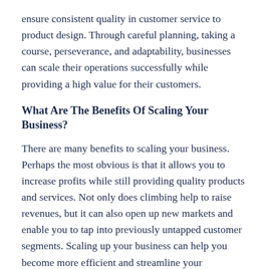ensure consistent quality in customer service to product design. Through careful planning, taking a course, perseverance, and adaptability, businesses can scale their operations successfully while providing a high value for their customers.
What Are The Benefits Of Scaling Your Business?
There are many benefits to scaling your business. Perhaps the most obvious is that it allows you to increase profits while still providing quality products and services. Not only does climbing help to raise revenues, but it can also open up new markets and enable you to tap into previously untapped customer segments. Scaling up your business can help you become more efficient and streamline your operations, saving time and minimizing potential issues.
But perhaps the biggest reason that businesses should consider scaling is that it gives them a competitive advantage over their competitors. To stay ahead, all...